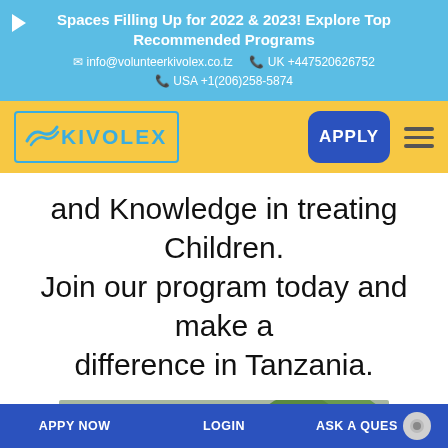Spaces Filling Up for 2022 & 2023! Explore Top Recommended Programs
info@volunteerkivolex.co.tz  UK +44752062675
USA +1(206)258-5874
[Figure (logo): Kivolex logo with bird/wave icon in teal, text KIVOLEX in teal, with teal border rectangle, on yellow nav bar. Apply button (blue) and hamburger menu on right.]
and Knowledge in treating Children. Join our program today and make a difference in Tanzania.
[Figure (photo): Photo of two children, one African child and one with braided/lighter hair, outdoors with greenery in background.]
APPY NOW   LOGIN   ASK A QUES